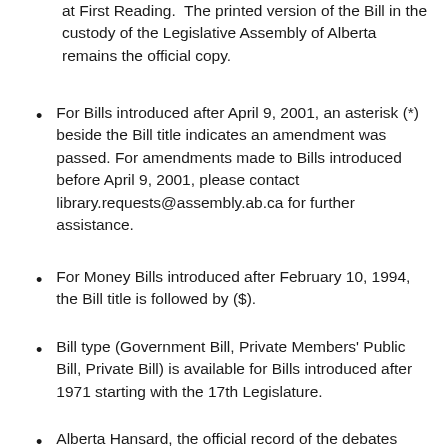at First Reading.  The printed version of the Bill in the custody of the Legislative Assembly of Alberta remains the official copy.
For Bills introduced after April 9, 2001, an asterisk (*) beside the Bill title indicates an amendment was passed. For amendments made to Bills introduced before April 9, 2001, please contact library.requests@assembly.ab.ca for further assistance.
For Money Bills introduced after February 10, 1994, the Bill title is followed by ($).
Bill type (Government Bill, Private Members' Public Bill, Private Bill) is available for Bills introduced after 1971 starting with the 17th Legislature.
Alberta Hansard, the official record of the debates